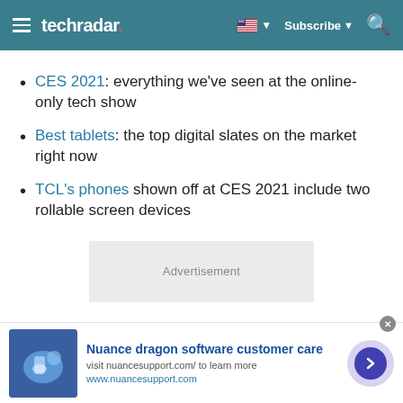techradar
CES 2021: everything we've seen at the online-only tech show
Best tablets: the top digital slates on the market right now
TCL's phones shown off at CES 2021 include two rollable screen devices
Advertisement
Nuance dragon software customer care
visit nuancesupport.com/ to learn more
www.nuancesupport.com